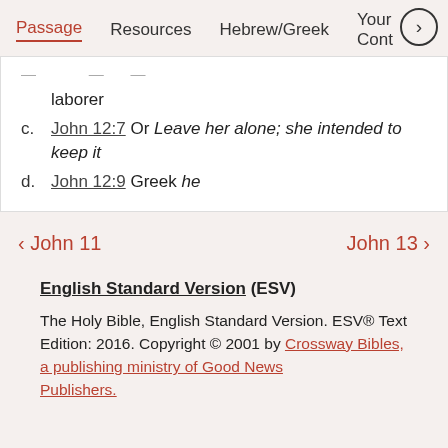Passage   Resources   Hebrew/Greek   Your Cont >
laborer
c. John 12:7 Or Leave her alone; she intended to keep it
d. John 12:9 Greek he
< John 11    John 13 >
English Standard Version (ESV)
The Holy Bible, English Standard Version. ESV® Text Edition: 2016. Copyright © 2001 by Crossway Bibles, a publishing ministry of Good News Publishers.